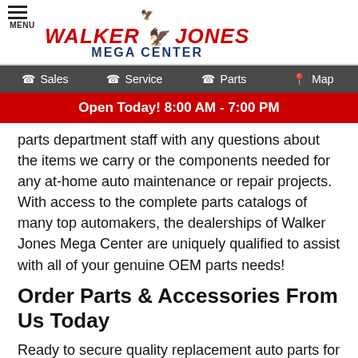WALKER JONES MEGA CENTER
Sales | Service | Parts | Map
Open Today! 8:00 AM - 7:00 PM
parts department staff with any questions about the items we carry or the components needed for any at-home auto maintenance or repair projects. With access to the complete parts catalogs of many top automakers, the dealerships of Walker Jones Mega Center are uniquely qualified to assist with all of your genuine OEM parts needs!
Order Parts & Accessories From Us Today
Ready to secure quality replacement auto parts for your Toyota, Chevy, Ram or Jeep? Then shop or visit Walker Jones Mega Center and our parts departments today! We offer convenient online parts ordering as well, so don't